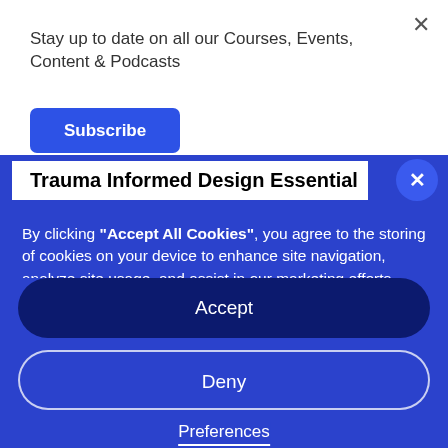Stay up to date on all our Courses, Events, Content & Podcasts
Subscribe
Trauma Informed Design Essential
By clicking "Accept All Cookies", you agree to the storing of cookies on your device to enhance site navigation, analyze site usage, and assist in our marketing efforts. View our Privacy Policy for more information.
Accept
Deny
Preferences